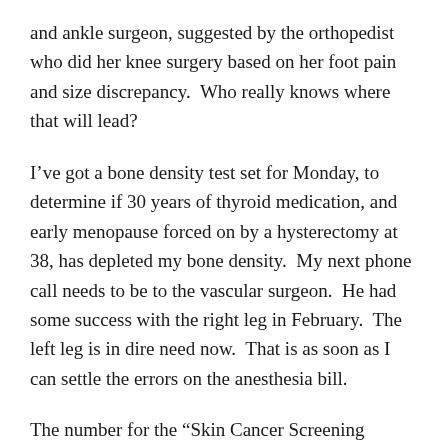and ankle surgeon, suggested by the orthopedist who did her knee surgery based on her foot pain and size discrepancy.  Who really knows where that will lead?
I've got a bone density test set for Monday, to determine if 30 years of thyroid medication, and early menopause forced on by a hysterectomy at 38, has depleted my bone density.  My next phone call needs to be to the vascular surgeon.  He had some success with the right leg in February.  The left leg is in dire need now.  That is as soon as I can settle the errors on the anesthesia bill.
The number for the “Skin Cancer Screening Clinic” at NYU sits on my desk.  Meghan and I both need to be scheduled.